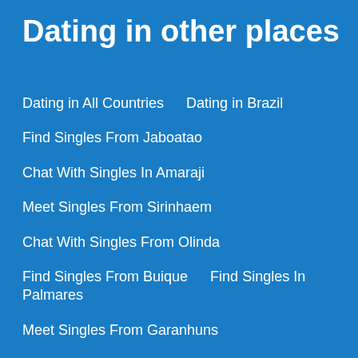Dating in other places
Dating in All Countries    Dating in Brazil
Find Singles From Jaboatao
Chat With Singles In Amaraji
Meet Singles From Sirinhaem
Chat With Singles From Olinda
Find Singles From Buique    Find Singles In Palmares
Meet Singles From Garanhuns
Chat With Singles In Cupira
Date Singles From Arcoverde